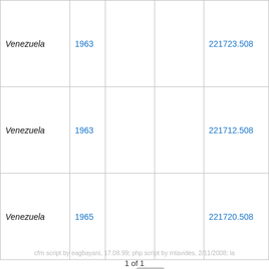|  |  |  |  |  |
| --- | --- | --- | --- | --- |
| Venezuela | 1963 |  |  | 221723.508... |
| Venezuela | 1963 |  |  | 221712.508... |
| Venezuela | 1965 |  |  | 221720.508... |
1 of 1
Jump to: 1
cfm script by eagbayani, 17.08.99; php script by mtavides, 2/11/2008; la